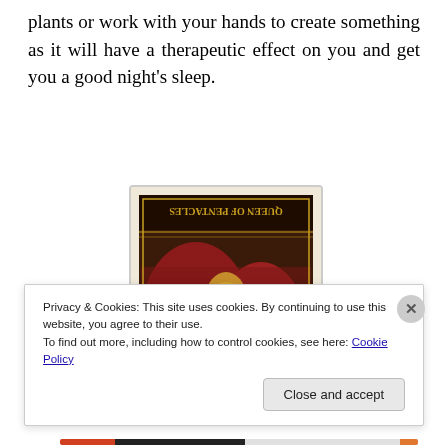plants or work with your hands to create something as it will have a therapeutic effect on you and get you a good night's sleep.
[Figure (photo): A tarot card shown upside-down. The card reads 'QUEEN OF PENTACLES' at the top (appearing inverted). The card features a richly illustrated figure in red and gold tones in a medieval/Renaissance artistic style.]
Privacy & Cookies: This site uses cookies. By continuing to use this website, you agree to their use.
To find out more, including how to control cookies, see here: Cookie Policy